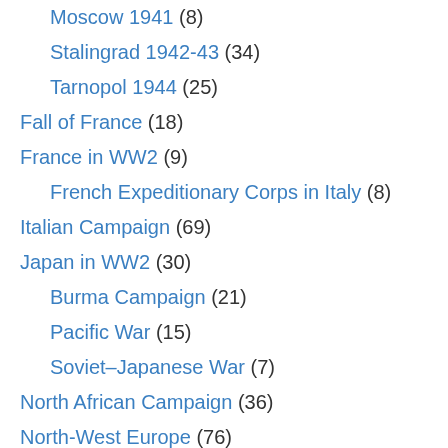Moscow 1941 (8)
Stalingrad 1942-43 (34)
Tarnopol 1944 (25)
Fall of France (18)
France in WW2 (9)
French Expeditionary Corps in Italy (8)
Italian Campaign (69)
Japan in WW2 (30)
Burma Campaign (21)
Pacific War (15)
Soviet–Japanese War (7)
North African Campaign (36)
North-West Europe (76)
NZ in WW2 (25)